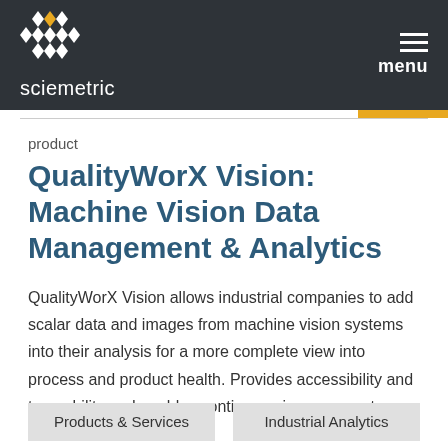sciemetric | menu
product
QualityWorX Vision: Machine Vision Data Management & Analytics
QualityWorX Vision allows industrial companies to add scalar data and images from machine vision systems into their analysis for a more complete view into process and product health. Provides accessibility and traceability and enables continuous improvement.
Products & Services
Industrial Analytics